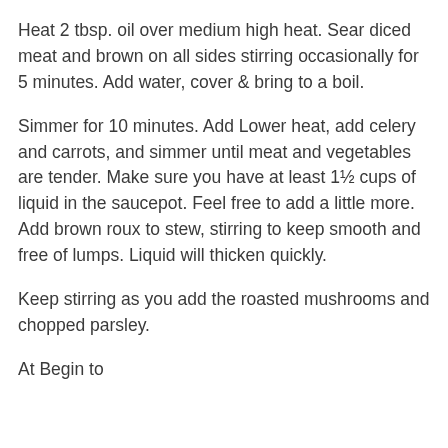Heat 2 tbsp. oil over medium high heat. Sear diced meat and brown on all sides stirring occasionally for 5 minutes. Add water, cover & bring to a boil.
Simmer for 10 minutes. Add Lower heat, add celery and carrots, and simmer until meat and vegetables are tender. Make sure you have at least 1½ cups of liquid in the saucepot. Feel free to add a little more. Add brown roux to stew, stirring to keep smooth and free of lumps. Liquid will thicken quickly.
Keep stirring as you add the roasted mushrooms and chopped parsley.
At Begin to...